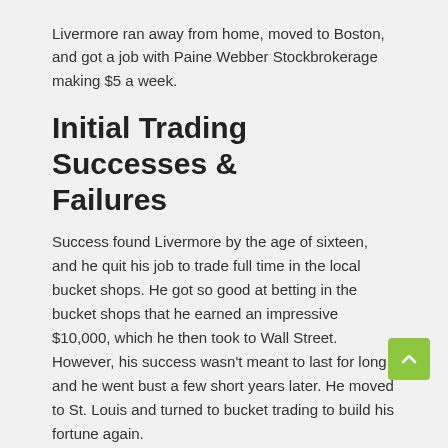Livermore ran away from home, moved to Boston, and got a job with Paine Webber Stockbrokerage making $5 a week.
Initial Trading Successes & Failures
Success found Livermore by the age of sixteen, and he quit his job to trade full time in the local bucket shops. He got so good at betting in the bucket shops that he earned an impressive $10,000, which he then took to Wall Street. However, his success wasn't meant to last for long, and he went bust a few short years later. He moved to St. Louis and turned to bucket trading to build his fortune again.
When he was twenty-three, he met Nettie Jordan and married her after only a few short weeks. After some bad trades less than a year later, he went broke. He asked Nettie to pawn the valuable collection of jewelry he had bought her for a new